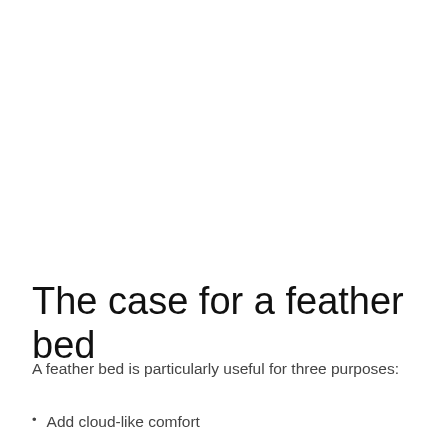The case for a feather bed
A feather bed is particularly useful for three purposes:
Add cloud-like comfort